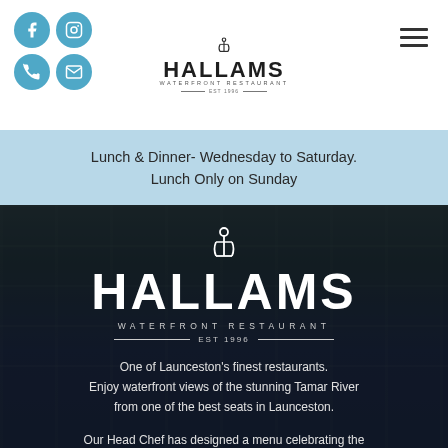[Figure (logo): Hallams Waterfront Restaurant logo with anchor icon, Facebook, Instagram, phone, and email social icons in blue circles, and hamburger menu icon]
Lunch & Dinner- Wednesday to Saturday. Lunch Only on Sunday
[Figure (photo): Dark overlay photo of restaurant interior with waterfront views, overlaid with Hallams Waterfront Restaurant logo (anchor, HALLAMS text, WATERFRONT RESTAURANT, EST 1996) and descriptive text: One of Launceston's finest restaurants. Enjoy waterfront views of the stunning Tamar River from one of the best seats in Launceston. Our Head Chef has designed a menu celebrating the finest in Tasmanian produce and we look forward to sharing it with you]